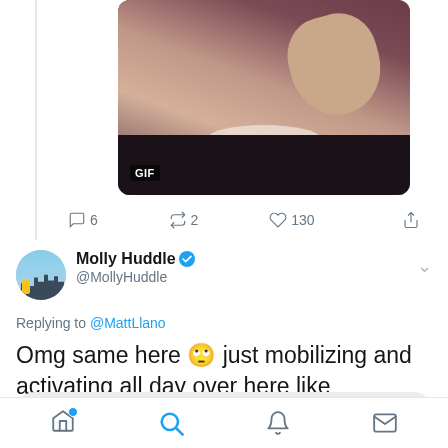[Figure (screenshot): GIF image showing a person covering their face with their hand, with a GIF badge overlay in the bottom-left corner]
6  2  130
[Figure (photo): Twitter avatar for Molly Huddle showing a runner in front of a city skyline]
Molly Huddle @MollyHuddle
Replying to @MattLlano
Omg same here 🙄 just mobilizing and activating all day over here like
[Figure (photo): Partial bottom edge of an image, showing a warm brown/tan background]
Tweet your reply
[Figure (screenshot): Twitter bottom navigation bar with home, search, notifications, and messages icons]